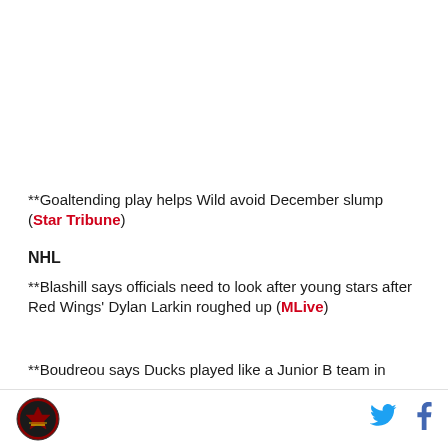**Goaltending play helps Wild avoid December slump (Star Tribune)
NHL
**Blashill says officials need to look after young stars after Red Wings' Dylan Larkin roughed up (MLive)
**Boudreou says Ducks played like a Junior B team in
Logo | Twitter | Facebook